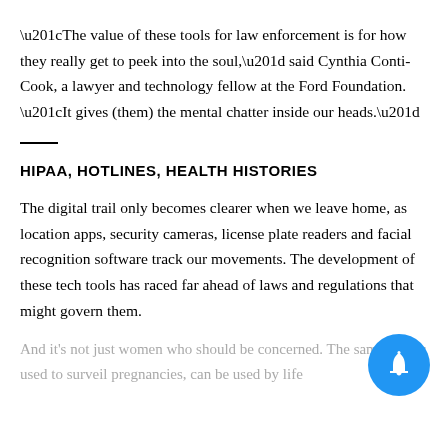“The value of these tools for law enforcement is for how they really get to peek into the soul,” said Cynthia Conti-Cook, a lawyer and technology fellow at the Ford Foundation. “It gives (them) the mental chatter inside our heads.”
HIPAA, HOTLINES, HEALTH HISTORIES
The digital trail only becomes clearer when we leave home, as location apps, security cameras, license plate readers and facial recognition software track our movements. The development of these tech tools has raced far ahead of laws and regulations that might govern them.
And it’s not just women who should be concerned. The same tactics used to surveil pregnancies, can be used by life